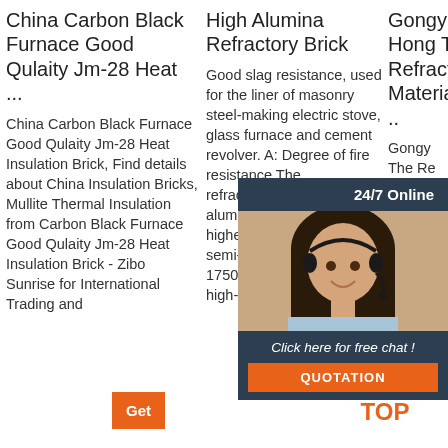China Carbon Black Furnace Good Qulaity Jm-28 Heat ...
China Carbon Black Furnace Good Qulaity Jm-28 Heat Insulation Brick, Find details about China Insulation Bricks, Mullite Thermal Insulation from Carbon Black Furnace Good Qulaity Jm-28 Heat Insulation Brick - Zibo Sunrise for International Trading and
High Alumina Refractory Brick
Good slag resistance, used for the liner of masonry steel-making electric stove, glass furnace and cement revolver. A: Degree of fire resistance The refractoriness of high alumina fire bricks are higher than clay brick and semi-silica brick, reach to 1750~1790, belong to high-
Gongyi City Hong The Refractory Material Co., Ltd ..
Gongyi Hong The Refractory Material Co., Ltd. Supplier from China. Products:
[Figure (other): 24/7 Online chat widget with female agent wearing headset, and QUOTATION button]
[Figure (other): TOP navigation icon with orange dots arranged in triangle above the text TOP]